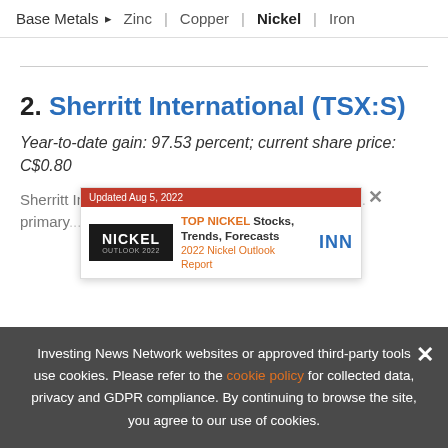Base Metals > Zinc | Copper | Nickel | Iron
2. Sherritt International (TSX:S)
Year-to-date gain: 97.53 percent; current share price: C$0.80
Sherritt International is a miner, producer and refin... primary... nickel. The company operates...
[Figure (other): Advertisement overlay: TOP NICKEL Stocks, Trends, Forecasts - 2022 Nickel Outlook Report, Updated Aug 5, 2022. INN logo.]
Investing News Network websites or approved third-party tools use cookies. Please refer to the cookie policy for collected data, privacy and GDPR compliance. By continuing to browse the site, you agree to our use of cookies.